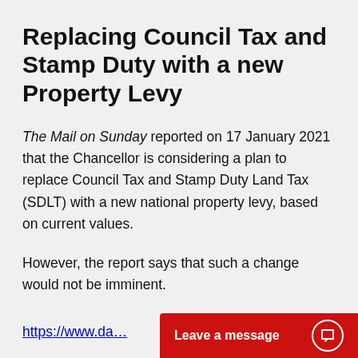Replacing Council Tax and Stamp Duty with a new Property Levy
The Mail on Sunday reported on 17 January 2021 that the Chancellor is considering a plan to replace Council Tax and Stamp Duty Land Tax (SDLT) with a new national property levy, based on current values.
However, the report says that such a change would not be imminent.
https://www.da...